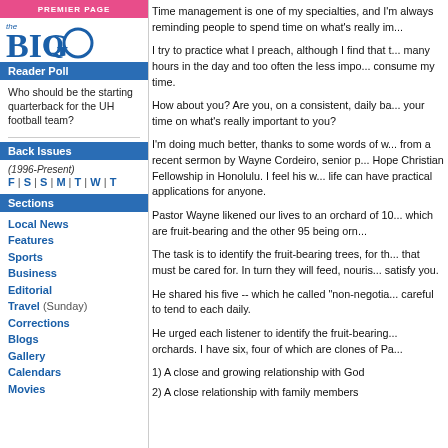PREMIER PAGE
[Figure (logo): The Big Q logo - blue text on white background]
Reader Poll
Who should be the starting quarterback for the UH football team?
Back Issues
(1996-Present)
F | S | S | M | T | W | T
Sections
Local News
Features
Sports
Business
Editorial
Travel (Sunday)
Corrections
Blogs
Gallery
Calendars
Movies
Time management is one of my specialties, and I'm always reminding people to spend time on what's really im...
I try to practice what I preach, although I find that t... many hours in the day and too often the less impo... consume my time.
How about you? Are you, on a consistent, daily ba... your time on what's really important to you?
I'm doing much better, thanks to some words of w... from a recent sermon by Wayne Cordeiro, senior p... Hope Christian Fellowship in Honolulu. I feel his w... life can have practical applications for anyone.
Pastor Wayne likened our lives to an orchard of 10... which are fruit-bearing and the other 95 being orn...
The task is to identify the fruit-bearing trees, for th... that must be cared for. In turn they will feed, nouris... satisfy you.
He shared his five -- which he called "non-negotia... careful to tend to each daily.
He urged each listener to identify the fruit-bearing... orchards. I have six, four of which are clones of Pa...
1) A close and growing relationship with God
2) A close relationship with family members